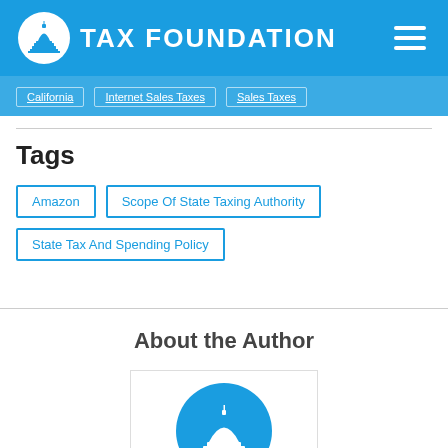TAX FOUNDATION
California
Internet Sales Taxes
Sales Taxes
Tags
Amazon
Scope Of State Taxing Authority
State Tax And Spending Policy
About the Author
[Figure (logo): Tax Foundation logo — white capitol dome inside a blue circle]